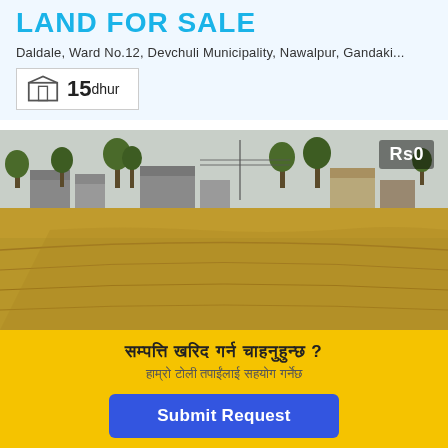LAND FOR SALE
Daldale, Ward No.12, Devchuli Municipality, Nawalpur, Gandaki...
15 dhur
[Figure (photo): Outdoor photo of an open agricultural land (field) with dry golden grass, and rural buildings/trees visible in the background. Price badge 'Rs0' in the top right corner.]
सम्पत्ति खरिद गर्न चाहनुहुन्छ ?
हाम्रो टोली तपाईंलाई सहयोग गर्नेछ
Submit Request